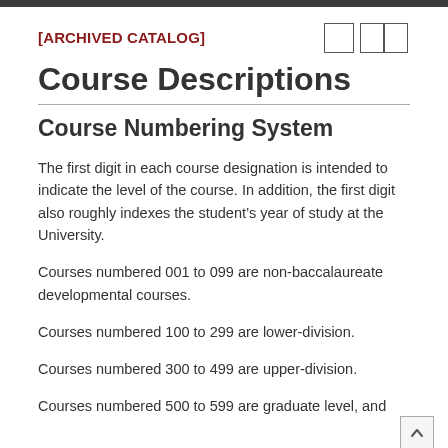[ARCHIVED CATALOG]
Course Descriptions
Course Numbering System
The first digit in each course designation is intended to indicate the level of the course. In addition, the first digit also roughly indexes the student's year of study at the University.
Courses numbered 001 to 099 are non-baccalaureate developmental courses.
Courses numbered 100 to 299 are lower-division.
Courses numbered 300 to 499 are upper-division.
Courses numbered 500 to 599 are graduate level, and